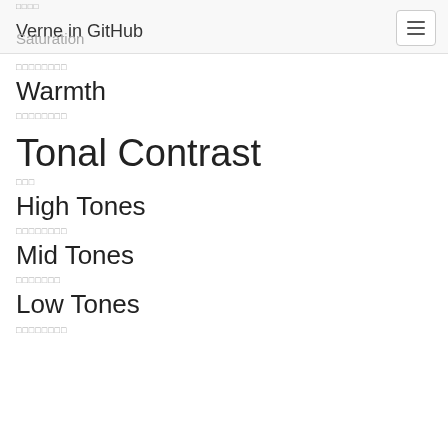Verne in GitHub / Saturation
□□□□□□□□
Warmth
□□□□□□□□
Tonal Contrast
□□□
High Tones
□□□□□□□□
Mid Tones
□□□□□□□
Low Tones
□□□□□□□□